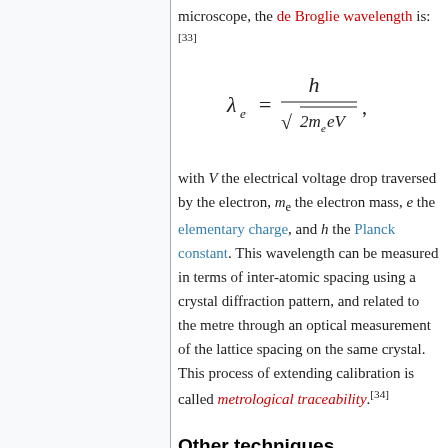microscope, the de Broglie wavelength is:[33]
with V the electrical voltage drop traversed by the electron, m_e the electron mass, e the elementary charge, and h the Planck constant. This wavelength can be measured in terms of inter-atomic spacing using a crystal diffraction pattern, and related to the metre through an optical measurement of the lattice spacing on the same crystal. This process of extending calibration is called metrological traceability.[34]
Other techniques
Measuring dimensions of localized